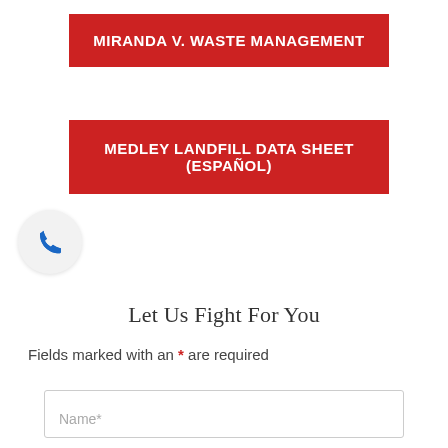MIRANDA v. WASTE MANAGEMENT
MEDLEY LANDFILL DATA SHEET (Español)
[Figure (other): Phone icon in a light gray circle]
Let Us Fight For You
Fields marked with an * are required
Name*